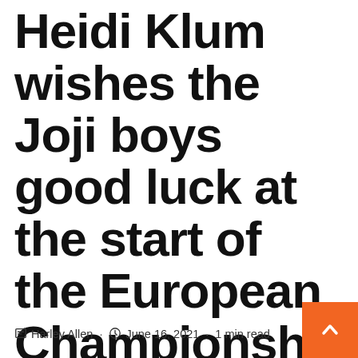Heidi Klum wishes the Joji boys good luck at the start of the European Championship
Harley Allen · June 16, 2021 · 1 min read